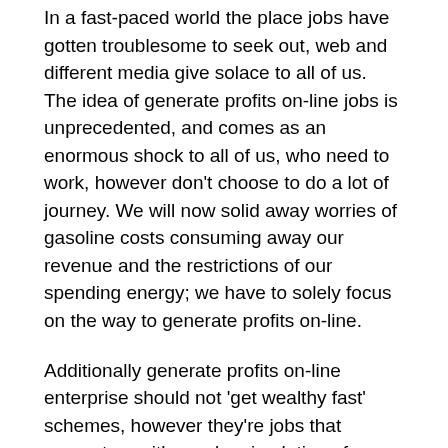In a fast-paced world the place jobs have gotten troublesome to seek out, web and different media give solace to all of us. The idea of generate profits on-line jobs is unprecedented, and comes as an enormous shock to all of us, who need to work, however don't choose to do a lot of journey. We will now solid away worries of gasoline costs consuming away our revenue and the restrictions of our spending energy; we have to solely focus on the way to generate profits on-line.
Additionally generate profits on-line enterprise should not 'get wealthy fast' schemes, however they're jobs that present us with regular circulation of revenue and in addition they don't go away us empty handed and worn out. Not solely are these jobs straightforward to do, however they're additionally informative, they usually improve our data and our understanding of issues.